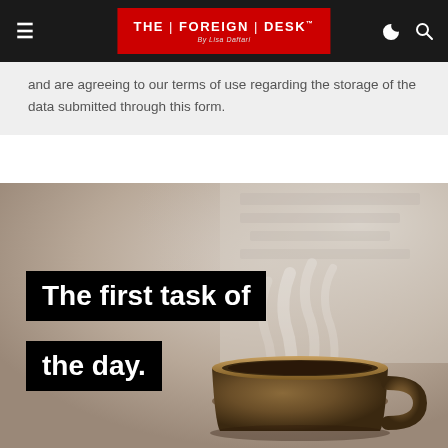THE | FOREIGN | DESK — By Lisa Daftari
and are agreeing to our terms of use regarding the storage of the data submitted through this form.
[Figure (photo): A steaming coffee mug with blurred newspaper background, overlaid with bold white text on black banners reading 'The first task of the day.']